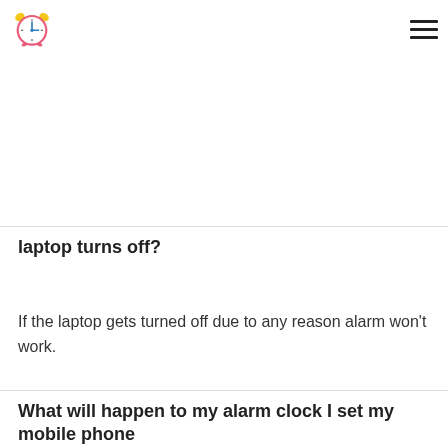[Figure (logo): Alarm clock logo icon: circular clock face with blue clock hands, pink/red rim, yellow alarm bells on top]
laptop turns off?
If the laptop gets turned off due to any reason alarm won't work.
What will happen to my alarm clock I set my mobile phone